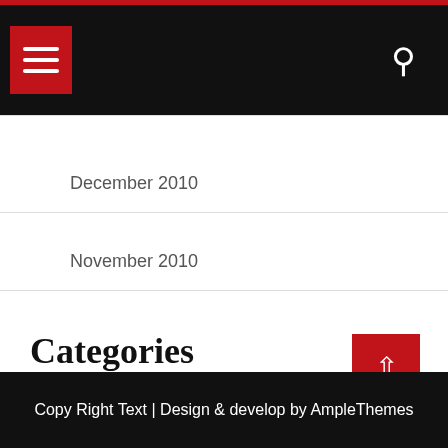Navigation header with hamburger menu and search icon
December 2010
November 2010
Categories
Uncategorized
Copy Right Text | Design & develop by AmpleThemes